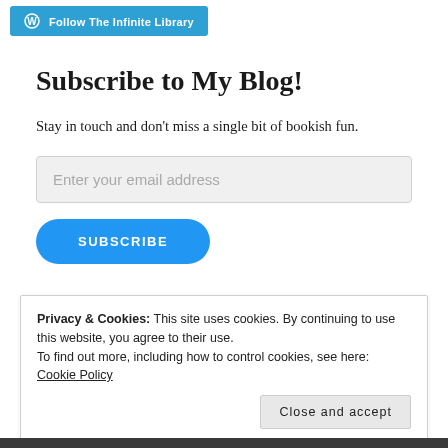Follow The Infinite Library
Subscribe to My Blog!
Stay in touch and don't miss a single bit of bookish fun.
Enter your email address
SUBSCRIBE
Privacy & Cookies: This site uses cookies. By continuing to use this website, you agree to their use.
To find out more, including how to control cookies, see here: Cookie Policy
Close and accept